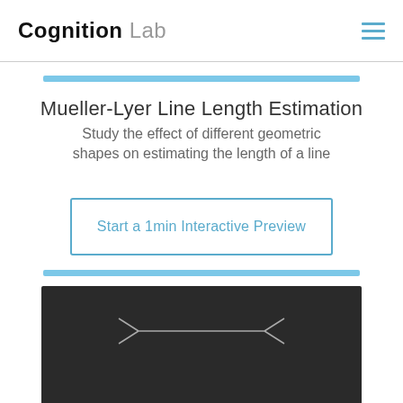Cognition Lab
Mueller-Lyer Line Length Estimation
Study the effect of different geometric shapes on estimating the length of a line
Start a 1min Interactive Preview
[Figure (illustration): Dark background preview area showing a Mueller-Lyer line illusion with arrow fins pointing inward and outward on a horizontal line]